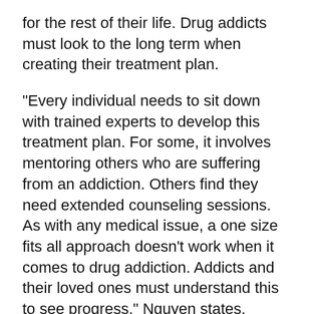for the rest of their life. Drug addicts must look to the long term when creating their treatment plan.
"Every individual needs to sit down with trained experts to develop this treatment plan. For some, it involves mentoring others who are suffering from an addiction. Others find they need extended counseling sessions. As with any medical issue, a one size fits all approach doesn't work when it comes to drug addiction. Addicts and their loved ones must understand this to see progress," Nguyen states.
About Minneapolis Personal Help.com:
Minneapolis Personal Help strives to help those suffering from a drug addiction, offering information